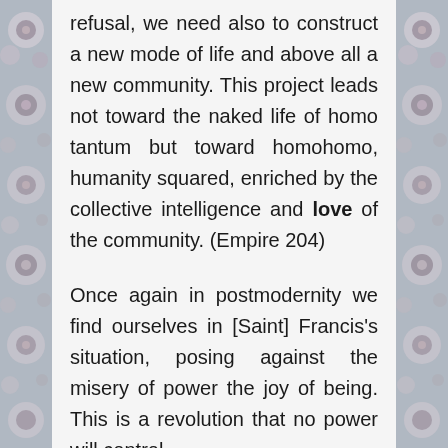refusal, we need also to construct a new mode of life and above all a new community. This project leads not toward the naked life of homo tantum but toward homohomo, humanity squared, enriched by the collective intelligence and love of the community. (Empire 204)
Once again in postmodernity we find ourselves in [Saint] Francis's situation, posing against the misery of power the joy of being. This is a revolution that no power will control